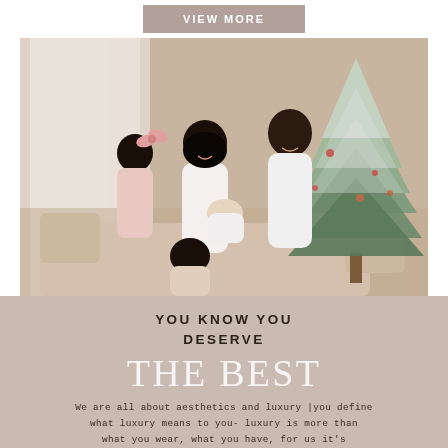VIEW MORE
[Figure (photo): A family of four seated on a couch in front of a flocked Christmas tree. A woman in white holds a newborn baby, a man in a white t-shirt sits beside her, and a young girl in pink with a bow climbs behind the mother. Another young child sits in the foreground.]
YOU KNOW YOU DESERVE THE BEST
We are all about aesthetics and luxury |you define what luxury means to you- luxury is more than what you wear, what you have, for us it's an experience, a sense, a lifestyle|. You deserve a